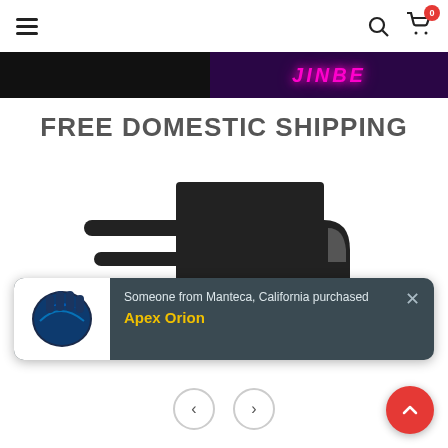Navigation bar with hamburger menu, search icon, and cart icon (0 items)
[Figure (screenshot): Banner strip with dark background and pink/magenta stylized text on purple background]
FREE DOMESTIC SHIPPING
[Figure (illustration): Fast-moving delivery truck icon in dark gray/black with speed lines]
[Figure (infographic): Popup notification: 'Someone from Manteca, California purchased Apex Orion' with product image of blue/black goalkeeper gloves]